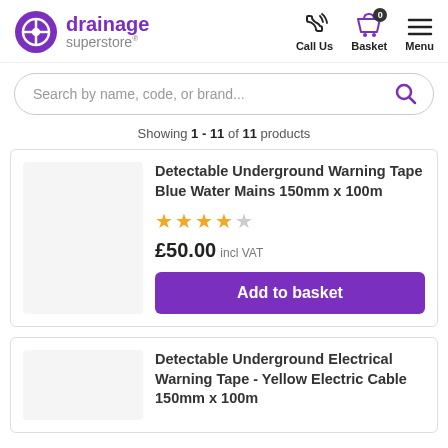drainage superstore® | Call Us | Basket 0 | Menu
Search by name, code, or brand...
Showing 1 - 11 of 11 products
Detectable Underground Warning Tape Blue Water Mains 150mm x 100m
★★★★☆ £50.00 incl VAT
Add to basket
Detectable Underground Electrical Warning Tape - Yellow Electric Cable 150mm x 100m